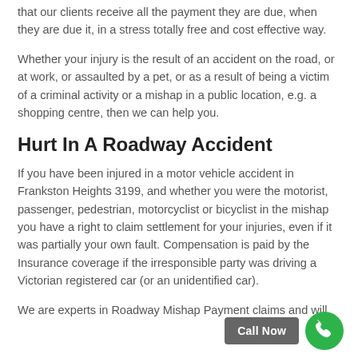that our clients receive all the payment they are due, when they are due it, in a stress totally free and cost effective way.
Whether your injury is the result of an accident on the road, or at work, or assaulted by a pet, or as a result of being a victim of a criminal activity or a mishap in a public location, e.g. a shopping centre, then we can help you.
Hurt In A Roadway Accident
If you have been injured in a motor vehicle accident in Frankston Heights 3199, and whether you were the motorist, passenger, pedestrian, motorcyclist or bicyclist in the mishap you have a right to claim settlement for your injuries, even if it was partially your own fault. Compensation is paid by the Insurance coverage if the irresponsible party was driving a Victorian registered car (or an unidentified car).
We are experts in Roadway Mishap Payment claims and will